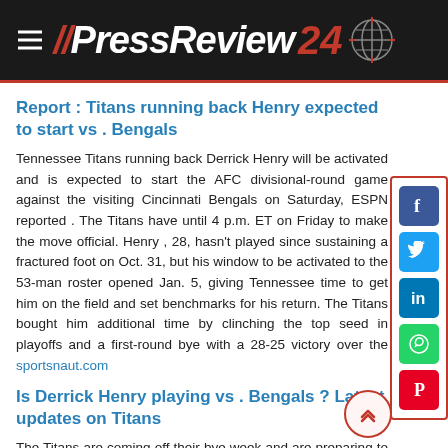//PressReview 24
Report : Titans running back Henry expected to start vs . Bengals
Tennessee Titans running back Derrick Henry will be activated and is expected to start the AFC divisional-round game against the visiting Cincinnati Bengals on Saturday, ESPN reported . The Titans have until 4 p.m. ET on Friday to make the move official. Henry , 28, hasn't played since sustaining a fractured foot on Oct. 31, but his window to be activated to the 53-man roster opened Jan. 5, giving Tennessee time to get him on the field and set benchmarks for his return. The Titans bought him additional time by clinching the top seed in playoffs and a first-round bye with a 28-25 victory over the sportsnaut.com
Is Derrick Henry playing vs . Bengals ? Latest updates on Titans
The Titans are coming off their bye week and are preparing to play for the first time during the 2022 NFL playoffs. They are facing just one big question before their Saturday afternoon matchup against the Bengals . Will Derrick Henry be able to play? The Titans ' star running back has been out since Initial reports indicated Henry might miss the rest of the season as a result of the injury, but it was later revealed that he would